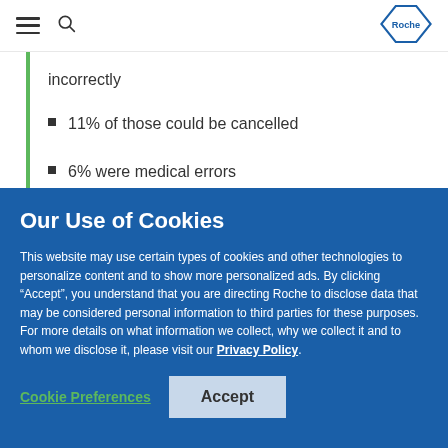Roche navigation header with hamburger menu, search icon, and Roche logo
incorrectly
11% of those could be cancelled
6% were medical errors
The rest were expensive, bundled tests of
Our Use of Cookies
This website may use certain types of cookies and other technologies to personalize content and to show more personalized ads. By clicking “Accept”, you understand that you are directing Roche to disclose data that may be considered personal information to third parties for these purposes. For more details on what information we collect, why we collect it and to whom we disclose it, please visit our Privacy Policy.
Cookie Preferences | Accept